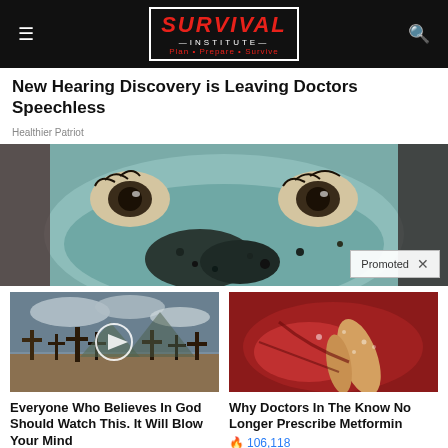SURVIVAL INSTITUTE — Plan · Prepare · Survive
New Hearing Discovery is Leaving Doctors Speechless
Healthier Patriot
[Figure (photo): Close-up of a person's face with a blue/grey facial mask, eyes open wide, with a 'Promoted' badge overlay in the bottom right corner]
[Figure (photo): Cemetery with wooden crosses under dramatic cloudy sky, with a circular play button overlay]
Everyone Who Believes In God Should Watch This. It Will Blow Your Mind
🔥 2,845,645
[Figure (photo): Close-up medical image of internal organs/tissue in red tones]
Why Doctors In The Know No Longer Prescribe Metformin
🔥 106,118